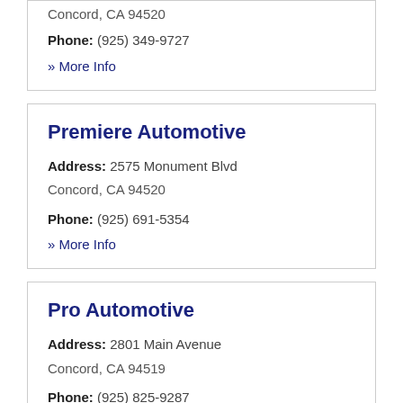Concord, CA 94520
Phone: (925) 349-9727
» More Info
Premiere Automotive
Address: 2575 Monument Blvd
Concord, CA 94520
Phone: (925) 691-5354
» More Info
Pro Automotive
Address: 2801 Main Avenue
Concord, CA 94519
Phone: (925) 825-9287